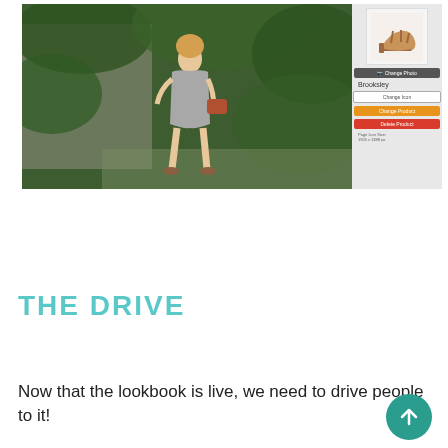[Figure (screenshot): Screenshot of a lookbook web interface showing a woman in a grey wrap dress standing in front of an ivy-covered wall, with a right sidebar panel showing a shoe product, buttons for Change Photo, Change Icon, Change Product, Delete Product, and page icon size info.]
THE DRIVE
Now that the lookbook is live, we need to drive people to it!